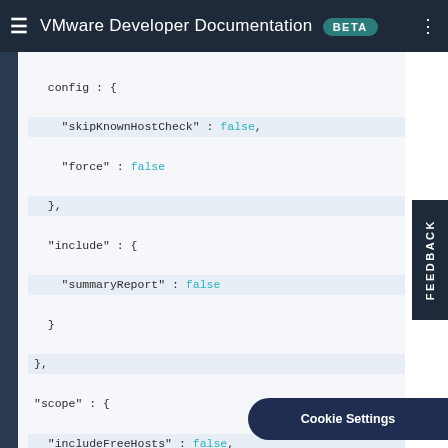VMware Developer Documentation BETA
config : {
  "skipKnownHostCheck" : false,
  "force" : false
},
"include" : {
  "summaryReport" : false
}
},
"scope" : {
  "includeFreeHosts" : false,
  "includeAllDomains" : false,
  "domains" : [ {
    "domainName" : "sddcId-1001",
    "clusterNames" : [ "SDDC-Cluster1" ]
  } ]
},
"healthChecks" : {
  "servicesHealth" : true,
  "ntpHealth" : true,